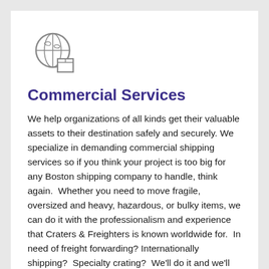[Figure (illustration): Globe with shipping box icon — a circular globe outline with a small package/box in the lower right area, drawn in gray outline style]
Commercial Services
We help organizations of all kinds get their valuable assets to their destination safely and securely. We specialize in demanding commercial shipping services so if you think your project is too big for any Boston shipping company to handle, think again.  Whether you need to move fragile, oversized and heavy, hazardous, or bulky items, we can do it with the professionalism and experience that Craters & Freighters is known worldwide for.  In need of freight forwarding? Internationally shipping?  Specialty crating?  We'll do it and we'll do it well.  Our training is ongoing and our dedication to our customers cannot be matched.  We work hard to receive and maintain